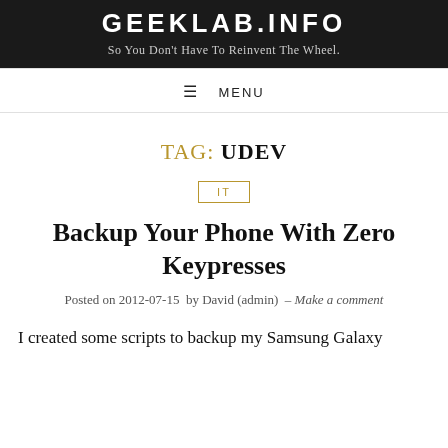GEEKLAB.INFO
So You Don't Have To Reinvent The Wheel.
☰  MENU
TAG: UDEV
IT
Backup Your Phone With Zero Keypresses
Posted on 2012-07-15  by David (admin)  – Make a comment
I created some scripts to backup my Samsung Galaxy